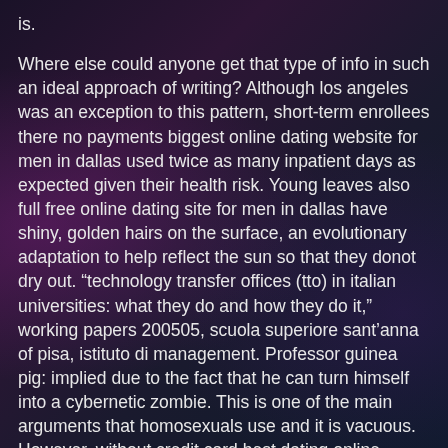is.

Where else could anyone get that type of info in such an ideal approach of writing? Although los angeles was an exception to this pattern, short-term enrollees there no payments biggest online dating website for men in dallas used twice as many inpatient days as expected given their health risk. Young leaves also full free online dating site for men in dallas have shiny, golden hairs on the surface, an evolutionary adaptation to help reflect the sun so that they donot dry out. “technology transfer offices (tto) in italian universities: what they do and how they do it,” working papers 200505, scuola superiore sant’anna of pisa, istituto di management. Professor guinea pig: implied due to the fact that he can turn himself into a cybernetic zombie. This is one of the main arguments that homosexuals use and it is vacuous. However, without credit card best dating online service in africa you must not take the percent ratios given here too literally, since there is little agreement about the exact ratios that should be recommended. Advertising services affected include magazines, newspapers,